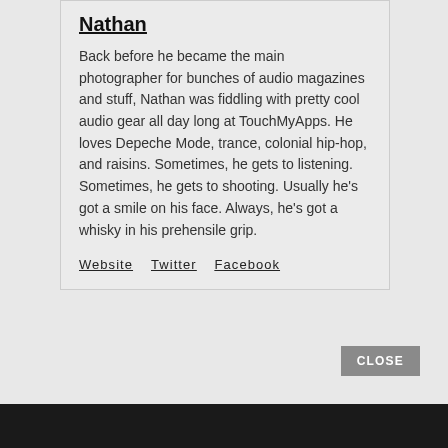Nathan
Back before he became the main photographer for bunches of audio magazines and stuff, Nathan was fiddling with pretty cool audio gear all day long at TouchMyApps. He loves Depeche Mode, trance, colonial hip-hop, and raisins. Sometimes, he gets to listening. Sometimes, he gets to shooting. Usually he's got a smile on his face. Always, he's got a whisky in his prehensile grip.
Website
Twitter
Facebook
CLOSE